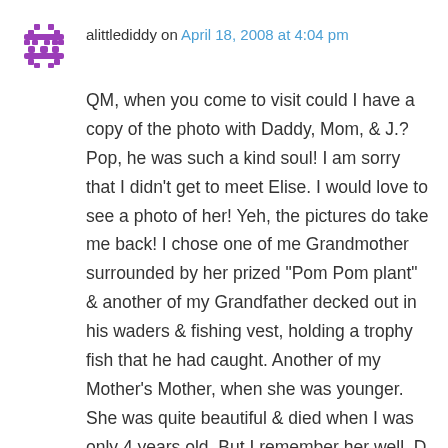[Figure (illustration): Purple/magenta pixel-art style avatar icon with dot pattern, used as commenter profile image]
alittlediddy on April 18, 2008 at 4:04 pm
QM, when you come to visit could I have a copy of the photo with Daddy, Mom, & J.? Pop, he was such a kind soul! I am sorry that I didn’t get to meet Elise. I would love to see a photo of her! Yeh, the pictures do take me back! I chose one of me Grandmother surrounded by her prized “Pom Pom plant” & another of my Grandfather decked out in his waders & fishing vest, holding a trophy fish that he had caught. Another of my Mother’s Mother, when she was younger. She was quite beautiful & died when I was only 4 years old. But I remember her well. D
★ Like